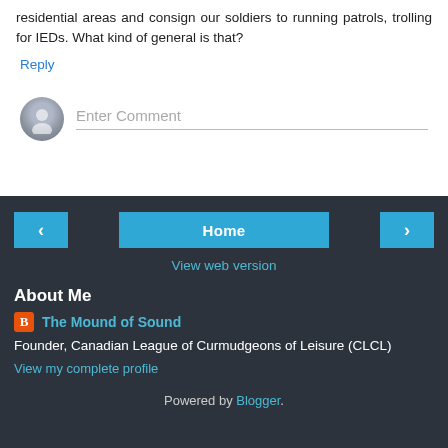residential areas and consign our soldiers to running patrols, trolling for IEDs. What kind of general is that?
Reply
Enter Comment
Home
View web version
About Me
The Mound of Sound
Founder, Canadian League of Curmudgeons of Leisure (CLCL)
View my complete profile
Powered by Blogger.